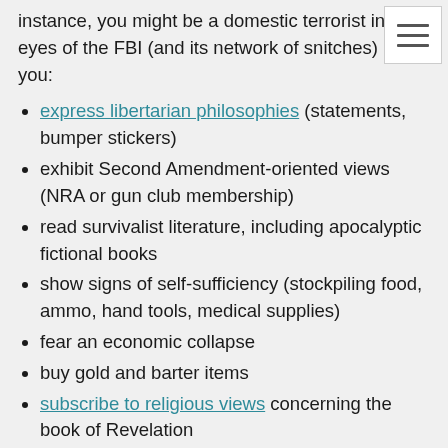instance, you might be a domestic terrorist in the eyes of the FBI (and its network of snitches) if you:
express libertarian philosophies (statements, bumper stickers)
exhibit Second Amendment-oriented views (NRA or gun club membership)
read survivalist literature, including apocalyptic fictional books
show signs of self-sufficiency (stockpiling food, ammo, hand tools, medical supplies)
fear an economic collapse
buy gold and barter items
subscribe to religious views concerning the book of Revelation
voice fears about Big Brother or big government